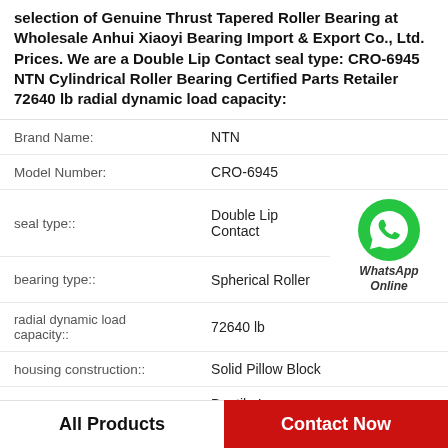selection of Genuine Thrust Tapered Roller Bearing at Wholesale Anhui Xiaoyi Bearing Import & Export Co., Ltd. Prices. We are a Double Lip Contact seal type: CRO-6945 NTN Cylindrical Roller Bearing Certified Parts Retailer 72640 lb radial dynamic load capacity:
| Brand Name: | NTN |
| Model Number: | CRO-6945 |
| seal type:: | Double Lip Contact |
| bearing type:: | Spherical Roller |
| radial dynamic load capacity:: | 72640 lb |
| housing construction:: | Solid Pillow Block |
| housing material:: | Ductile Iron |
All Products    Contact Now